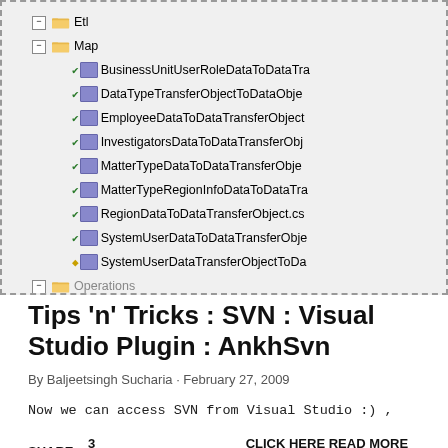[Figure (screenshot): Visual Studio Solution Explorer tree view showing Etl folder expanded with Map subfolder containing multiple C# mapper files: BusinessUnitUserRoleDataToDataTra..., DataTypeTransferObjectToDataObje..., EmployeeDataToDataTransferObject..., InvestigatorsDataToDataTransferObj..., MatterTypeDataToDataTransferObje..., MatterTypeRegionInfoDataToDataTra..., RegionDataToDataTransferObject.cs..., SystemUserDataToDataTransferObje..., SystemUserDataTransferObjectToDa... All with green checkmarks except last which has yellow diamond. Operations folder visible at bottom.]
Tips 'n' Tricks : SVN : Visual Studio Plugin : AnkhSvn
By Baljeetsingh Sucharia · February 27, 2009
Now we can access SVN from Visual Studio :) ,
SHARE    3 COMMENTS                        CLICK HERE READ MORE ...